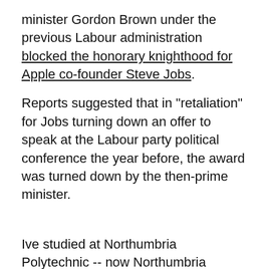minister Gordon Brown under the previous Labour administration blocked the honorary knighthood for Apple co-founder Steve Jobs.
Reports suggested that in "retaliation" for Jobs turning down an offer to speak at the Labour party political conference the year before, the award was turned down by the then-prime minister.
Ive studied at Northumbria Polytechnic -- now Northumbria University -- where he read industrial design. He then went to work for a design agency, where Apple as one of the clients, was so impressed that the company hired him.